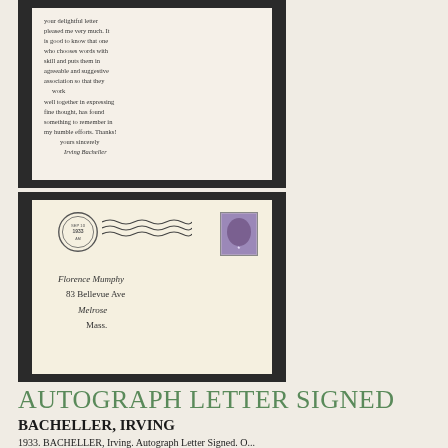[Figure (photo): Two photographs of a handwritten letter and its envelope. Top image shows the end of a handwritten letter in cursive script on aged paper. Bottom image shows the addressed envelope with postmark, wavy cancellation lines, and stamp, addressed to Florence Mumphy, 83 Bellevue Ave, Melrose, Mass.]
AUTOGRAPH LETTER SIGNED
BACHELLER, IRVING
1933. BACHELLER, Irving. Autograph Letter Signed. O...